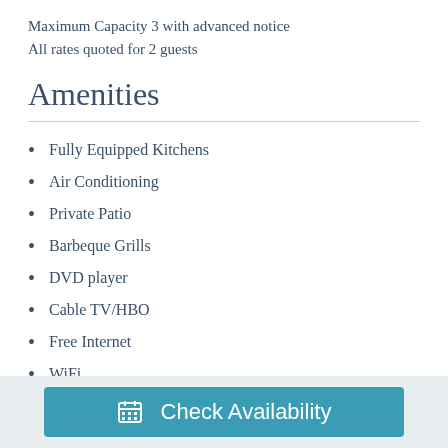Maximum Capacity 3 with advanced notice
All rates quoted for 2 guests
Amenities
Fully Equipped Kitchens
Air Conditioning
Private Patio
Barbeque Grills
DVD player
Cable TV/HBO
Free Internet
WiFi
Check Availability